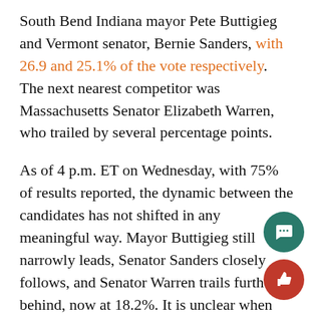South Bend Indiana mayor Pete Buttigieg and Vermont senator, Bernie Sanders, with 26.9 and 25.1% of the vote respectively. The next nearest competitor was Massachusetts Senator Elizabeth Warren, who trailed by several percentage points.
As of 4 p.m. ET on Wednesday, with 75% of results reported, the dynamic between the candidates has not shifted in any meaningful way. Mayor Buttigieg still narrowly leads, Senator Sanders closely follows, and Senator Warren trails further behind, now at 18.2%. It is unclear when the remaining 25% of results will be released.
One of the most astonishing revelations from the partial results is the relatively poor performance of former vice president Joe Biden. Prior to Monday's caucuses, Biden polling well at roughly 17%, trailing Buttigieg by only 1% and Sanders by 8%. According to the most recent results, Biden received only 15.6%, now tailing Buttigieg by over...